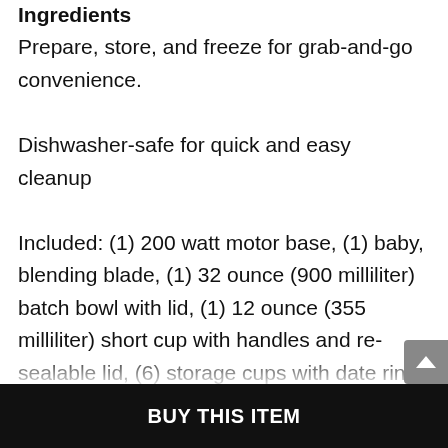Ingredients
Prepare, store, and freeze for grab-and-go convenience.
Dishwasher-safe for quick and easy cleanup
Included: (1) 200 watt motor base, (1) baby, blending blade, (1) 32 ounce (900 milliliter) batch bowl with lid, (1) 12 ounce (355 milliliter) short cup with handles and re-sealable lid, (6) storage cups with date ring lids and storage tray, (1) silicone freezer tray with lid and recipe book
BUY THIS ITEM